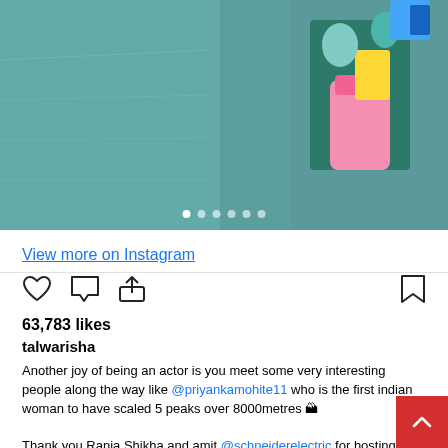[Figure (photo): Instagram post photo showing teal/green fabric and colorful patterned item with pink, yellow, teal colors. Carousel dots visible at bottom.]
View more on Instagram
[Figure (infographic): Instagram action icons: heart (like), comment bubble, share arrow on left; bookmark icon on right]
63,783 likes
talwarisha
Another joy of being an actor is you meet some very interesting people along the way like @priyankamohite11 who is the first indian woman to have scaled 5 peaks over 8000metres 🏔

Thank you Ranja,Shikha and amit @schneiderelectric for hosting us and letting us share small bits from our lives 🙏

Styled by: @studiokuko
Hmu @samson_lei
Corset: @advait_in